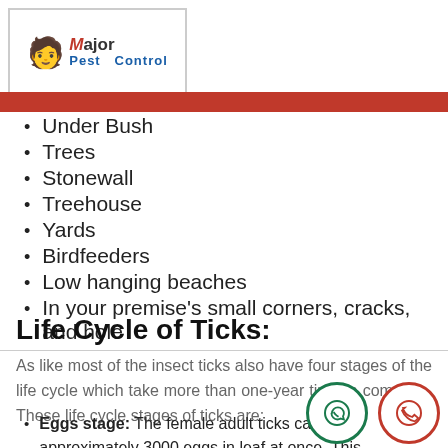Major Pest Control
Under Bush
Trees
Stonewall
Treehouse
Yards
Birdfeeders
Low hanging beaches
In your premise's small corners, cracks, and hole
Life Cycle of Ticks:
As like most of the insect ticks also have four stages of the life cycle which take more than one-year time to complete. These life cycle stages of ticks are:
Eggs stage: The female adult ticks can lay approximately 3000 eggs in leaf at once. This stage of tick egg lasts up to 40-60 days.